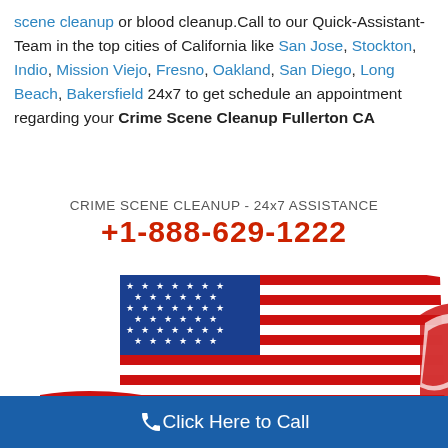scene cleanup or blood cleanup.Call to our Quick-Assistant-Team in the top cities of California like San Jose, Stockton, Indio, Mission Viejo, Fresno, Oakland, San Diego, Long Beach, Bakersfield 24x7 to get schedule an appointment regarding your Crime Scene Cleanup Fullerton CA
[Figure (infographic): Crime Scene Cleanup 24x7 Assistance banner with phone number +1-888-629-1222 and US flag illustration]
Click Here to Call